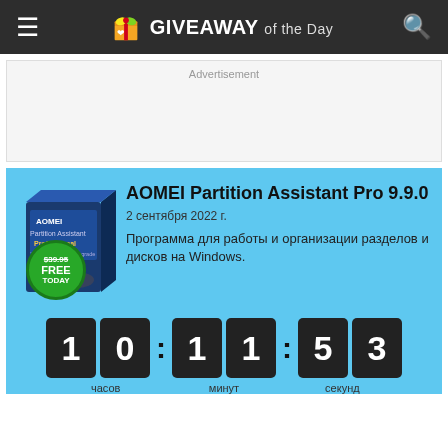GIVEAWAY of the Day
Advertisement
AOMEI Partition Assistant Pro 9.9.0
2 сентября 2022 г.
Программа для работы и организации разделов и дисков на Windows.
[Figure (other): Countdown timer showing 10 hours 11 minutes 53 seconds]
часов   минут   секунд